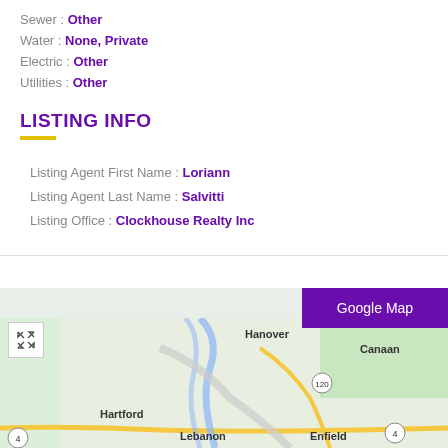Sewer : Other
Water : None, Private
Electric : Other
Utilities : Other
LISTING INFO
Listing Agent First Name : Loriann
Listing Agent Last Name : Salvitti
Listing Office : Clockhouse Realty Inc
[Figure (map): Google Map showing the area around Hanover, Hartford, Lebanon, Canaan, Enfield in Vermont/New Hampshire with route markers 120, 4]